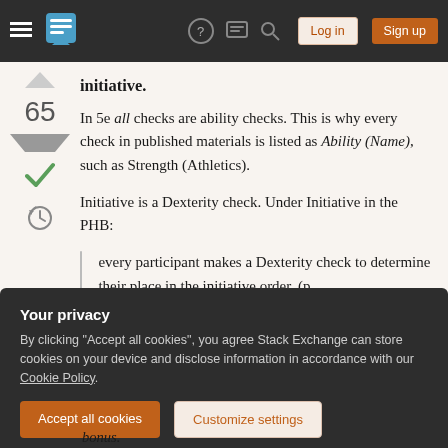Stack Exchange navigation bar with Log in and Sign up buttons
initiative.
In 5e all checks are ability checks. This is why every check in published materials is listed as Ability (Name), such as Strength (Athletics).
Initiative is a Dexterity check. Under Initiative in the PHB:
every participant makes a Dexterity check to determine their place in the initiative order. (p.
Your privacy
By clicking "Accept all cookies", you agree Stack Exchange can store cookies on your device and disclose information in accordance with our Cookie Policy.
bonus.